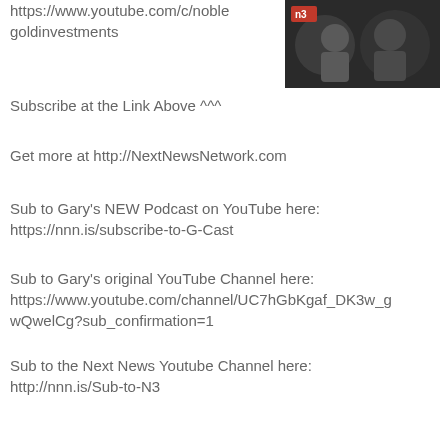https://www.youtube.com/c/noble goldinvestments
[Figure (photo): Thumbnail image showing two people, with a red N3 logo in the top left corner, dark background]
Subscribe at the Link Above ^^^
Get more at http://NextNewsNetwork.com
Sub to Gary's NEW Podcast on YouTube here:
https://nnn.is/subscribe-to-G-Cast
Sub to Gary's original YouTube Channel here:
https://www.youtube.com/channel/UC7hGbKgaf_DK3w_gwQwelCg?sub_confirmation=1
Sub to the Next News Youtube Channel here:
http://nnn.is/Sub-to-N3
Get on our Email list!
http://nnn.is/email-newsletter-next-news
Check out Gary's Kid's YouTube channel here: